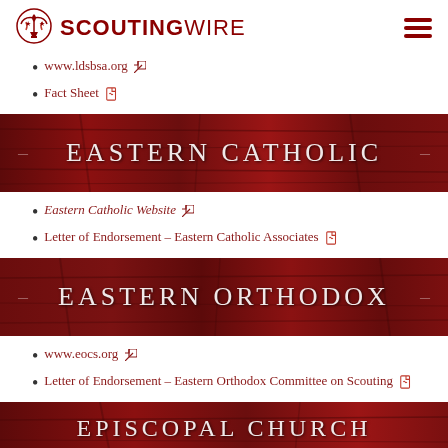SCOUTINGWIRE
www.ldsbsa.org
Fact Sheet
EASTERN CATHOLIC
Eastern Catholic Website
Letter of Endorsement – Eastern Catholic Associates
EASTERN ORTHODOX
www.eocs.org
Letter of Endorsement – Eastern Orthodox Committee on Scouting
EPISCOPAL CHURCH